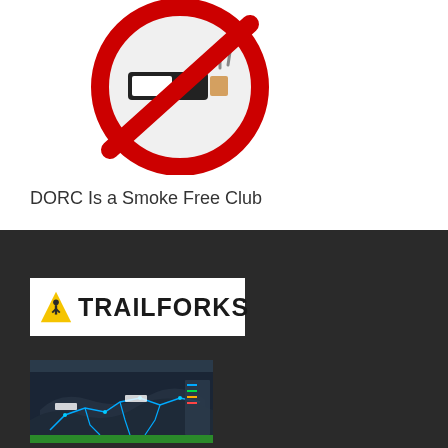[Figure (illustration): No smoking sign — red circle with diagonal bar over a black cigarette/device icon on white background]
DORC Is a Smoke Free Club
[Figure (logo): Trailforks logo — yellow triangle with person icon on left, bold black TRAILFORKS text on white background]
[Figure (map): Screenshot of Trailforks trail map showing cycling trails in a dark-themed map interface with blue trail lines and labels]